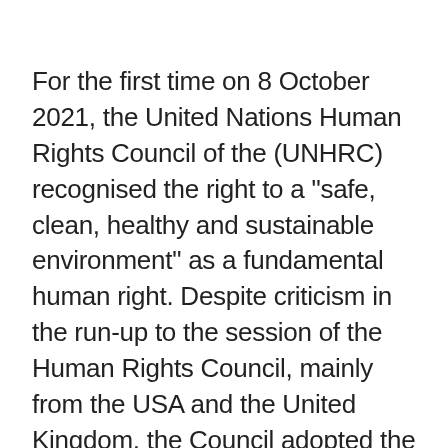For the first time on 8 October 2021, the United Nations Human Rights Council of the (UNHRC) recognised the right to a "safe, clean, healthy and sustainable environment" as a fundamental human right. Despite criticism in the run-up to the session of the Human Rights Council, mainly from the USA and the United Kingdom, the Council adopted the new Resolution with 43 votes. It had been sponsored by Costa Rica, the Maldives, Morocco, Slovenia and Switzerland. Russia, India, China and Japan abstained. The resolution calls on States to take steps to implement the right to a safe, clean, healthy and